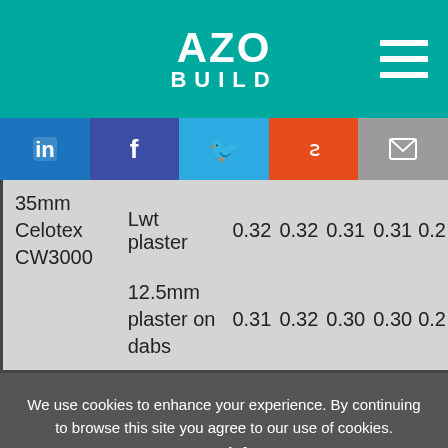AZO BUILD
| Product | Finish | Val1 | Val2 | Val3 | Val4 | Val5 |
| --- | --- | --- | --- | --- | --- | --- |
| 35mm Celotex CW3000 | Lwt plaster | 0.32 | 0.32 | 0.31 | 0.31 | 0.2… |
|  | 12.5mm plaster on dabs | 0.31 | 0.32 | 0.30 | 0.30 | 0.2… |
We use cookies to enhance your experience. By continuing to browse this site you agree to our use of cookies. More info.
✓ Accept   Cookie Settings